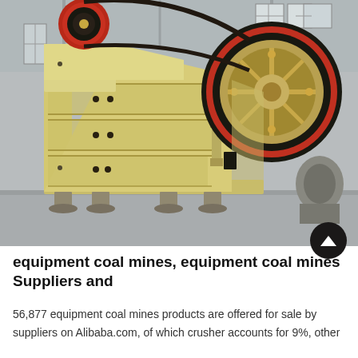[Figure (photo): A large yellow/cream colored jaw crusher machine displayed in an industrial warehouse/factory setting. The machine has a large black flywheel with red trim on the right side, a smaller red flywheel on the upper left, a ribbed body structure, and metal feet. The background shows a grey industrial hall.]
equipment coal mines, equipment coal mines Suppliers and
56,877 equipment coal mines products are offered for sale by suppliers on Alibaba.com, of which crusher accounts for 9%, other